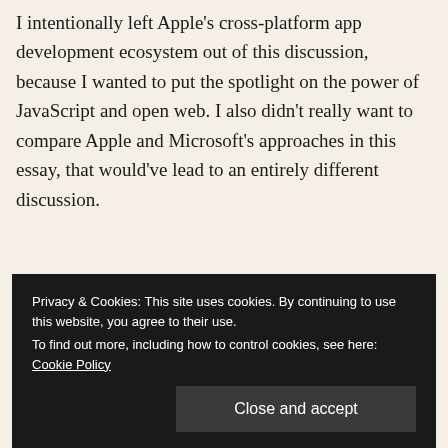I intentionally left Apple's cross-platform app development ecosystem out of this discussion, because I wanted to put the spotlight on the power of JavaScript and open web. I also didn't really want to compare Apple and Microsoft's approaches in this essay, that would've lead to an entirely different discussion.
Privacy & Cookies: This site uses cookies. By continuing to use this website, you agree to their use. To find out more, including how to control cookies, see here: Cookie Policy
their most popular apps, despite their multi-